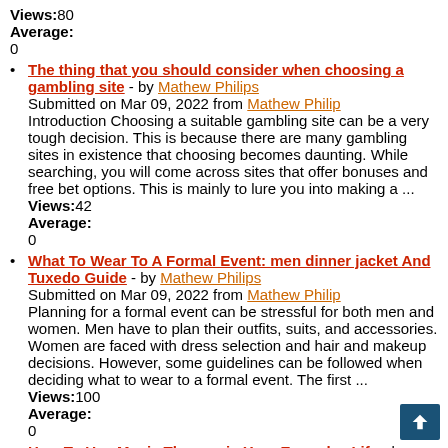Views:80
Average:
0
The thing that you should consider when choosing a gambling site - by Mathew Philips
Submitted on Mar 09, 2022 from Mathew Philip
Introduction Choosing a suitable gambling site can be a very tough decision. This is because there are many gambling sites in existence that choosing becomes daunting. While searching, you will come across sites that offer bonuses and free bet options. This is mainly to lure you into making a ...
Views:42
Average:
0
What To Wear To A Formal Event: men dinner jacket And Tuxedo Guide - by Mathew Philips
Submitted on Mar 09, 2022 from Mathew Philip
Planning for a formal event can be stressful for both men and women. Men have to plan their outfits, suits, and accessories. Women are faced with dress selection and hair and makeup decisions. However, some guidelines can be followed when deciding what to wear to a formal event. The first ...
Views:100
Average:
0
How To Use Music Therapy in Your Everyday Life - by Mathew Philips